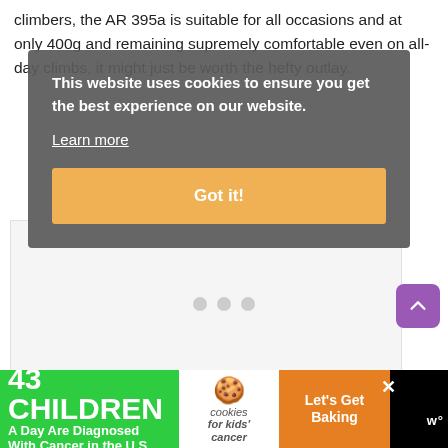climbers, the AR 395a is suitable for all occasions and at only 400g and remaining supremely comfortable even on all-day climbs, it might just be worth the hefty outlay.
This website uses cookies to ensure you get the best experience on our website.
Learn more
Got it!
[Figure (screenshot): White content area with three grey dot indicators (pagination/carousel dots) centered horizontally]
[Figure (infographic): Advertisement banner: '43 CHILDREN A Day Are Diagnosed With Cancer in the U.S.' on green background, cookies for kids' cancer logo in center, 'Let's Get Baking' on orange background. Close button X. Logo 'w°' on right.]